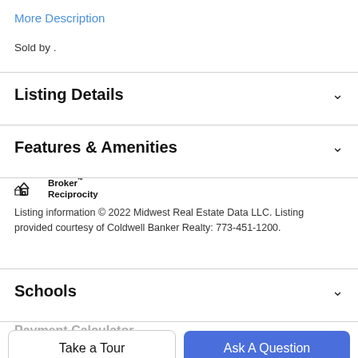More Description
Sold by .
Listing Details
Features & Amenities
[Figure (logo): Broker Reciprocity logo with house icon]
Listing information © 2022 Midwest Real Estate Data LLC. Listing provided courtesy of Coldwell Banker Realty: 773-451-1200.
Schools
Payment Calculator
Take a Tour
Ask A Question
Contact Agent